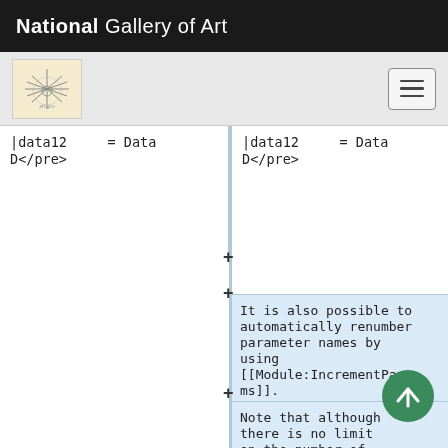National Gallery of Art
|data12    = Data D</pre>
|data12    = Data D</pre>
It is also possible to automatically renumber parameter names by using [[Module:IncrementParams]].
Note that although there is no limit on the number of available, row parameters should not